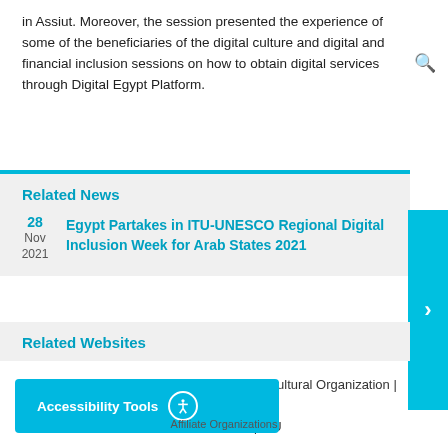in Assiut. Moreover, the session presented the experience of some of the beneficiaries of the digital culture and digital and financial inclusion sessions on how to obtain digital services through Digital Egypt Platform.
Related News
28 Nov 2021 — Egypt Partakes in ITU-UNESCO Regional Digital Inclusion Week for Arab States 2021
Related Websites
United Nations Educational Scientific and Cultural Organization | UNESCO
International Telecommunication Union | ITU
Accessibility Tools
Affiliate Organizations